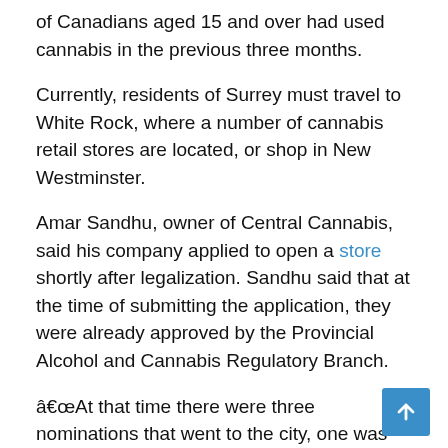of Canadians aged 15 and over had used cannabis in the previous three months.
Currently, residents of Surrey must travel to White Rock, where a number of cannabis retail stores are located, or shop in New Westminster.
Amar Sandhu, owner of Central Cannabis, said his company applied to open a store shortly after legalization. Sandhu said that at the time of submitting the application, they were already approved by the Provincial Alcohol and Cannabis Regulatory Branch.
â€œAt that time there were three nominations that went to the city, one was ours,â€ he said. “But there was no support.”
Sandhu said he had made efforts to talk to councilors, including the mayor, about the possibility of a store in Surrey.
â€œThe mayor said ‘not all councilors are together. We’ve got